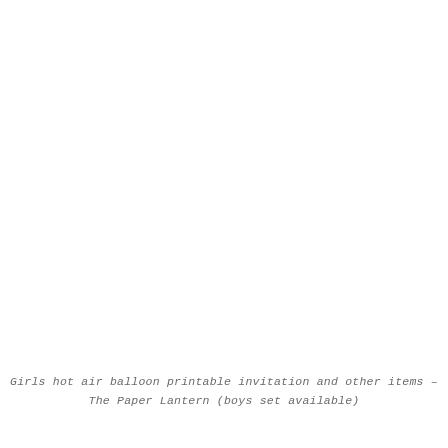Girls hot air balloon printable invitation and other items – The Paper Lantern (boys set available)